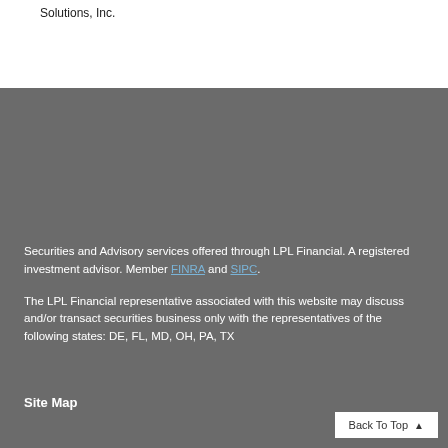Solutions, Inc.
Securities and Advisory services offered through LPL Financial. A registered investment advisor. Member FINRA and SIPC.
The LPL Financial representative associated with this website may discuss and/or transact securities business only with the representatives of the following states: DE, FL, MD, OH, PA, TX
Site Map
Back To Top